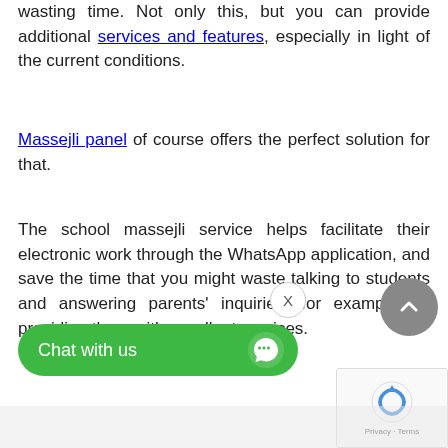wasting time. Not only this, but you can provide additional services and features, especially in light of the current conditions.
Massejli panel of course offers the perfect solution for that.
The school massejli service helps facilitate their electronic work through the WhatsApp application, and save the time that you might waste talking to students and answering parents' inquiries, for example, or providing them with excellent services.